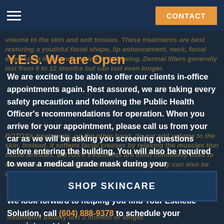Navigation bar with hamburger menu and CONTACT button
Y.E.S. We are Open
We are excited to be able to offer our clients in-office appointments again. Rest assured, we are taking every safety precaution and following the Public Health Officer's recommendations for operation. When you arrive for your appointment, please call us from your car as we will be asking you screening questions before entering the building. You will also be required to wear a medical grade mask during your appointment, one will be provided if you do not have one.
We look forward to helping you find Your Esthetic Solution, call (604) 888-9378 to schedule your appointment today.
[Figure (other): SHOP SKINCARE button]
treatments usually last 3 months or longer.